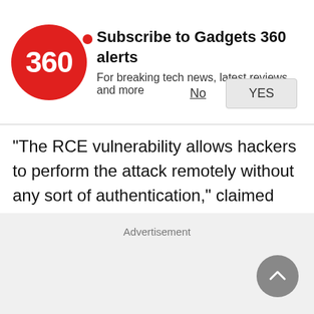[Figure (logo): Gadgets 360 red circle logo with '360' text in white]
Subscribe to Gadgets 360 alerts
For breaking tech news, latest reviews, and more
"The RCE vulnerability allows hackers to perform the attack remotely without any sort of authentication," claimed the report.
The critical WhatsApp vulnerability can be tracked as CVE-2019-11931.
Advertisement